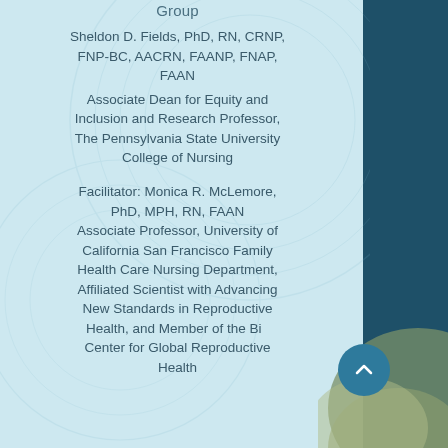Group
Sheldon D. Fields, PhD, RN, CRNP, FNP-BC, AACRN, FAANP, FNAP, FAAN
Associate Dean for Equity and Inclusion and Research Professor, The Pennsylvania State University College of Nursing
Facilitator: Monica R. McLemore, PhD, MPH, RN, FAAN
Associate Professor, University of California San Francisco Family Health Care Nursing Department, Affiliated Scientist with Advancing New Standards in Reproductive Health, and Member of the Bi... Center for Global Reproductive Health